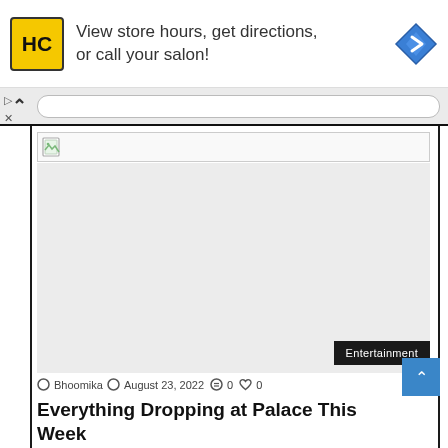[Figure (infographic): Advertisement banner for a hair salon service showing HC logo in yellow square, text 'View store hours, get directions, or call your salon!' and a blue navigation arrow diamond icon on the right]
[Figure (screenshot): Browser address bar with caret/up arrow and white input field]
[Figure (photo): Broken/loading image placeholder with small document icon]
[Figure (photo): Large main article image area - blank/loading, with Entertainment category tag in bottom right corner]
Bhoomika  August 23, 2022  0  0
Everything Dropping at Palace This Week